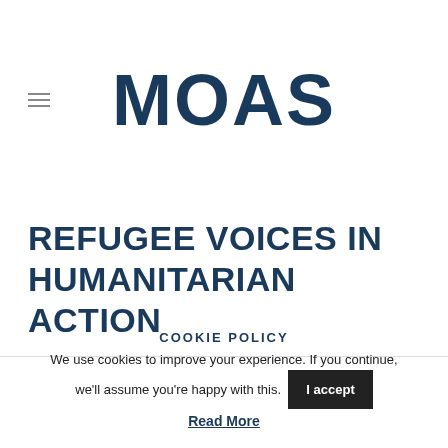MOAS
REFUGEE VOICES IN HUMANITARIAN ACTION
COOKIE POLICY
We use cookies to improve your experience. If you continue, we'll assume you're happy with this.
I accept
Read More